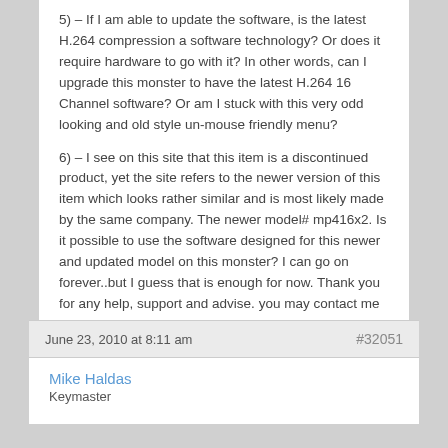5) – If I am able to update the software, is the latest H.264 compression a software technology? Or does it require hardware to go with it? In other words, can I upgrade this monster to have the latest H.264 16 Channel software? Or am I stuck with this very odd looking and old style un-mouse friendly menu?
6) – I see on this site that this item is a discontinued product, yet the site refers to the newer version of this item which looks rather similar and is most likely made by the same company. The newer model# mp416x2. Is it possible to use the software designed for this newer and updated model on this monster? I can go on forever..but I guess that is enough for now. Thank you for any help, support and advise. you may contact me at: crystallanglor@yahoo.com – Crystal
June 23, 2010 at 8:11 am
#32051
Mike Haldas
Keymaster